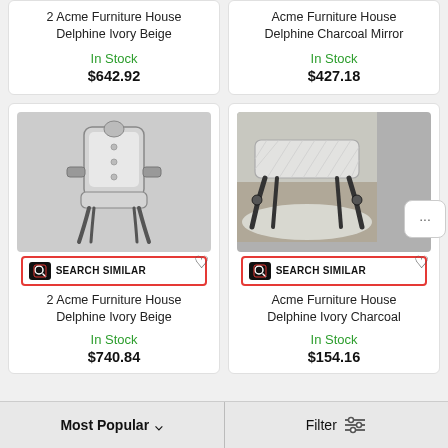2 Acme Furniture House Delphine Ivory Beige
In Stock
$642.92
Acme Furniture House Delphine Charcoal Mirror
In Stock
$427.18
[Figure (photo): Ornate white upholstered armchair with dark carved wood frame and cabriole legs]
SEARCH SIMILAR
2 Acme Furniture House Delphine Ivory Beige
In Stock
$740.84
[Figure (photo): White quilted upholstered bench/stool with dark carved wood cabriole legs on a white shag rug]
SEARCH SIMILAR
Acme Furniture House Delphine Ivory Charcoal
In Stock
$154.16
Most Popular
Filter